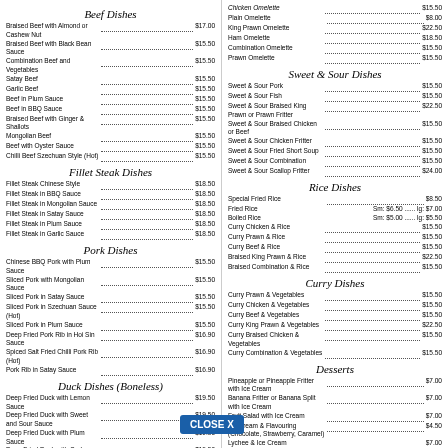Beef Dishes
Braised Beef with Almond or Cashew Nut ... $17.00
Braised Beef with Black Bean Sauce ... $15.50
Combination Beef and Vegetables ... $15.50
Satay Beef ... $15.50
Garlic Beef ... $15.50
Beef in Plum Sauce ... $15.50
Beef in BBQ Sauce ... $15.50
Braised Beef with Ginger & Shallots ... $15.50
Mongolian Beef ... $15.50
Beef with Oyster Sauce ... $15.50
Chilli Beef Szechuan Style (Hot) ... $15.50
Fillet Steak Dishes
Fillet Steak Chinese Style ... $18.50
Fillet Steak in BBQ Sauce ... $18.50
Fillet Steak in Mongolian Sauce ... $18.50
Fillet Steak in Satay Sauce ... $18.50
Fillet Steak in Plum Sauce ... $18.50
Fillet Steak in Garlic Sauce ... $18.50
Pork Dishes
Chinese BBQ Pork with Plum Sauce ... $15.50
Sliced Pork with Mongolian Sauce ... $15.50
Sliced Pork in Satay Sauce ... $15.50
Sliced Pork in Szechuan Sauce (Hot) ... $15.50
Sliced Pork in Plum Sauce ... $15.50
Deep Fried Pork Rib in Hoi Sin Sauce ... $16.90
Spiced Salt Fried Chilli Pork Rib (Hot) ... $16.90
Pork Rib in Satay Sauce ... $16.90
Duck Dishes (Boneless)
Deep Fried Duck with Lemon Sauce ... $19.50
Deep Fried Duck with Sweet and Sour Sauce ... $19.50
Deep Fried Duck with Plum Sauce ... $19.50
Deep Fried Duck with Crab Meat Sauce ... $19.50
Steamed Duck Combination ... $19.50
Chop Suey or Chow Mien
Prawn Chop Suey / Chow Mien ... $15.50
Chinese BBQ Pork Chop Suey / Chow Mien ...
Braised Chicken Chop Suey / Chow Mien ...
Chicken Omelette
Chicken Omelette ... $15.50
Plain Omelette ... $8.00
King Prawn Omelette ... $22.50
Ham Omelette ... $18.50
Combination Omelette ... $15.50
Prawn Omelette ... $15.50
Sweet & Sour Dishes
Sweet & Sour Pork ... $15.50
Sweet & Sour Fish ... $15.50
Sweet & Sour Braised King Prawn or Prawn Fritter ... $22.50
Sweet & Sour Braised Chicken or Beef ... $15.50
Sweet & Sour Chicken Fritter ... $15.50
Sweet & Sour Fried Short Soup ... $15.50
Sweet & Sour Combination ... $15.50
Sweet & Sour Scallop Fritter ... $24.00
Rice Dishes
Special Fried Rice ... $8.50
Fried Rice ... Sm: $6.50 ... lg: $7.00
Boiled Rice ... Sm: $5.00 ... lg: $5.50
Curry Chicken & Rice ... $15.50
Curry Prawn & Rice ... $15.50
Curry Beef & Rice ... $15.50
Braised King Prawn & Rice ... $22.50
Braised Combination & Rice ... $15.50
Curry Dishes
Curry Prawn & Vegetables ... $15.50
Curry Chicken & Vegetables ... $15.50
Curry Beef & Vegetables ... $15.50
Curry King Prawn & Vegetables ... $22.50
Curry Braised Chicken & Vegetables ... $15.50
Curry Combination & Vegetables ... $15.50
Desserts
Pineapple or Pineapple Fritter with Ice Cream ... $7.00
Banana Fritter or Banana Split with Ice Cream ... $7.00
Fruit Salad with Ice Cream ... $7.00
Ice Cream & Flavouring (Chocolate, Strawberry, Caramel) ... $4.50
Lychee & Ice Cream ... $7.00
Deep Fried Ice Cream with Flavouring ... $7.00
Beverages
Coffee ... $4.50
Oolong Tea ... $4.50